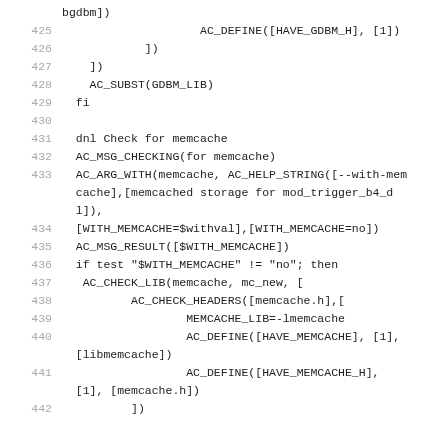Code listing lines 425-442, autoconf/configure.ac script
425    AC_DEFINE([HAVE_GDBM_H], [1])
426        ])
427    ])
428    AC_SUBST(GDBM_LIB)
429    fi
430
431    dnl Check for memcache
432    AC_MSG_CHECKING(for memcache)
433    AC_ARG_WITH(memcache, AC_HELP_STRING([--with-mem
cache],[memcached storage for mod_trigger_b4_d
l]),
434    [WITH_MEMCACHE=$withval],[WITH_MEMCACHE=no])
435    AC_MSG_RESULT([$WITH_MEMCACHE])
436    if test "$WITH_MEMCACHE" != "no"; then
437     AC_CHECK_LIB(memcache, mc_new, [
438            AC_CHECK_HEADERS([memcache.h],[
439                    MEMCACHE_LIB=-lmemcache
440                    AC_DEFINE([HAVE_MEMCACHE], [1],
[libmemcache])
441                    AC_DEFINE([HAVE_MEMCACHE_H],
[1], [memcache.h])
442            ])